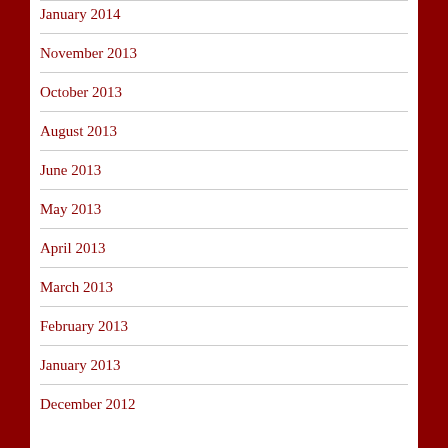January 2014
November 2013
October 2013
August 2013
June 2013
May 2013
April 2013
March 2013
February 2013
January 2013
December 2012